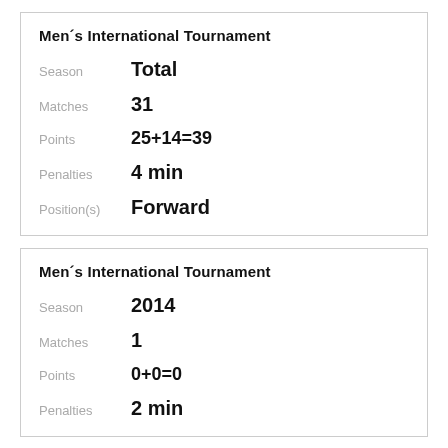Men´s International Tournament
Season   Total
Matches   31
Points   25+14=39
Penalties   4 min
Position(s)   Forward
Men´s International Tournament
Season   2014
Matches   1
Points   0+0=0
Penalties   2 min